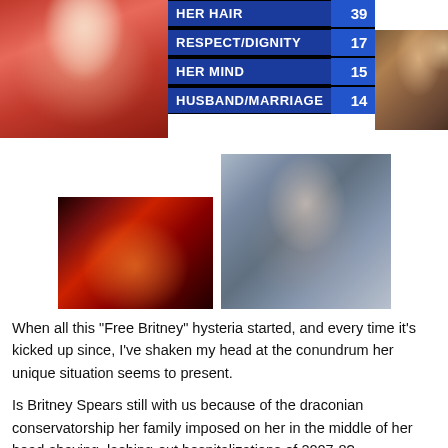[Figure (photo): Woman in red dress, blonde hair, smiling at event]
[Figure (photo): Scoreboard graphic showing categories: HER HAIR 39, RESPECT/DIGNITY 17, HER MIND 15, HUSBAND/MARRIAGE 14]
[Figure (photo): Blonde woman near mirror lights in dark outfit]
[Figure (photo): Woman performing on stage in dark/red lighting]
[Figure (photo): Woman with shaved head, close-up portrait]
When all this “Free Britney” hysteria started, and every time it’s kicked up since, I’ve shaken my head at the conundrum her unique situation seems to present.
Is Britney Spears still with us because of the draconian conservatorship her family imposed on her in the middle of her head-shaving, lashing-out hospitalizations of 2007-8?